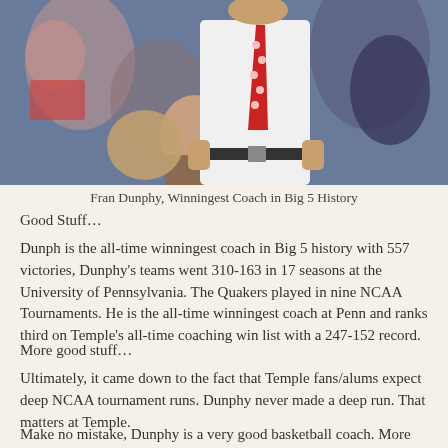[Figure (photo): A basketball coach wearing a white shirt and red polka-dot tie, standing courtside with hands on hips, crowd visible in background.]
Fran Dunphy, Winningest Coach in Big 5 History
Good Stuff…
Dunph is the all-time winningest coach in Big 5 history with 557 victories, Dunphy's teams went 310-163 in 17 seasons at the University of Pennsylvania. The Quakers played in nine NCAA Tournaments. He is the all-time winningest coach at Penn and ranks third on Temple's all-time coaching win list with a 247-152 record.
More good stuff…
Ultimately, it came down to the fact that Temple fans/alums expect deep NCAA tournament runs. Dunphy never made a deep run. That matters at Temple.
Make no mistake, Dunphy is a very good basketball coach. More importantly, Dunph is my friend… my Ol' Head. I am rooting for Dunph